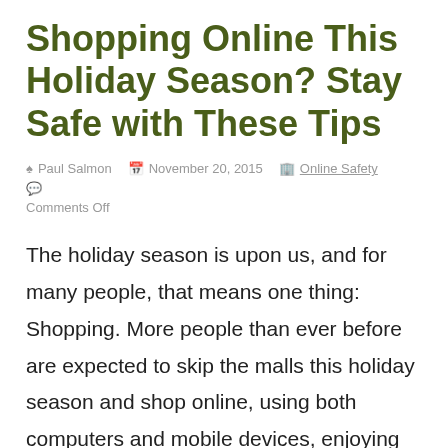Shopping Online This Holiday Season? Stay Safe with These Tips
Paul Salmon  November 20, 2015  Online Safety  Comments Off
The holiday season is upon us, and for many people, that means one thing: Shopping. More people than ever before are expected to skip the malls this holiday season and shop online, using both computers and mobile devices, enjoying the convenience, selection, and